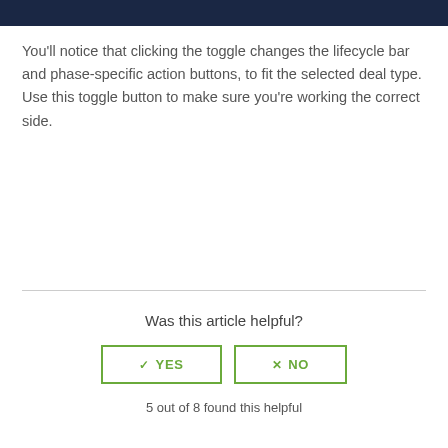[Figure (screenshot): Dark navy blue header/banner bar at the top of the page, partial UI screenshot]
You'll notice that clicking the toggle changes the lifecycle bar and phase-specific action buttons, to fit the selected deal type. Use this toggle button to make sure you're working the correct side.
Was this article helpful?
✓  YES    ×  NO
5 out of 8 found this helpful